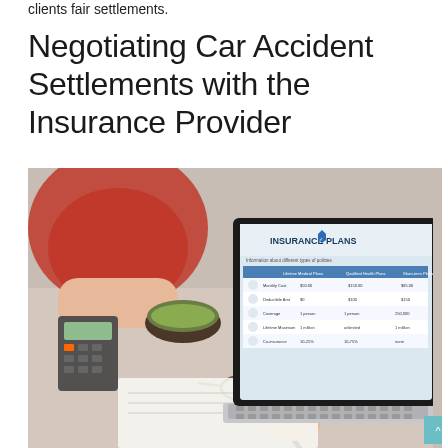clients fair settlements.
Negotiating Car Accident Settlements with the Insurance Provider
[Figure (photo): Person at a desk writing on paper next to a laptop displaying an 'Insurance Plans' webpage, with a calculator, bowl, and glasses on the table.]